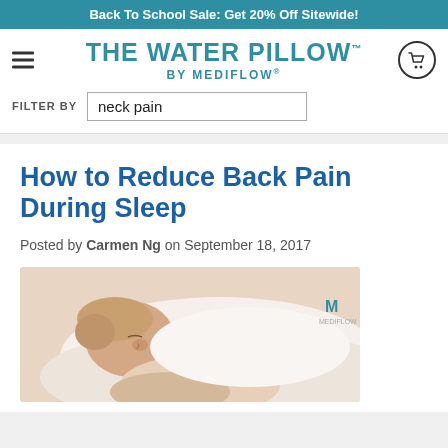Back To School Sale: Get 20% Off Sitewide!
[Figure (logo): The Water Pillow by Mediflow logo with hamburger menu and cart icon, and filter by neck pain search field]
How to Reduce Back Pain During Sleep
Posted by Carmen Ng on September 18, 2017
[Figure (photo): Person sleeping on a pillow, side profile view with white pillow and bedding, Mediflow watermark visible]